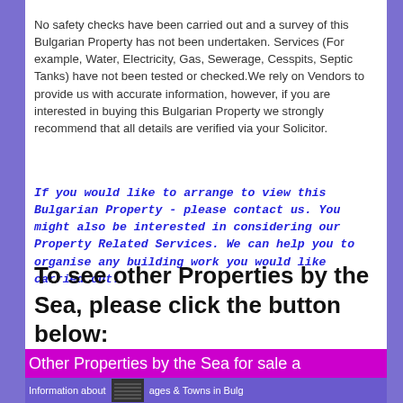No safety checks have been carried out and a survey of this Bulgarian Property has not been undertaken. Services (For example, Water, Electricity, Gas, Sewerage, Cesspits, Septic Tanks) have not been tested or checked.We rely on Vendors to provide us with accurate information, however, if you are interested in buying this Bulgarian Property we strongly recommend that all details are verified via your Solicitor.
If you would like to arrange to view this Bulgarian Property - please contact us. You might also be interested in considering our Property Related Services. We can help you to organise any building work you would like carried out.
To see other Properties by the Sea, please click the button below:
Other Properties by the Sea for sale a...
Information about ... ages & Towns in Bulg...